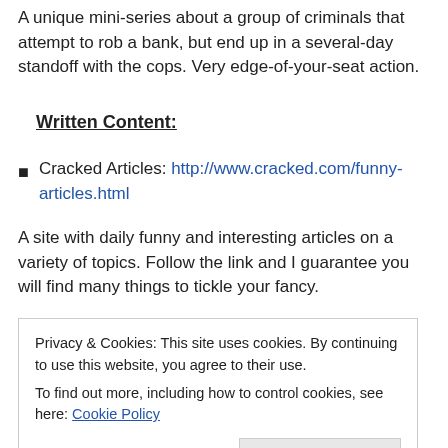A unique mini-series about a group of criminals that attempt to rob a bank, but end up in a several-day standoff with the cops. Very edge-of-your-seat action.
Written Content:
Cracked Articles: http://www.cracked.com/funny-articles.html
A site with daily funny and interesting articles on a variety of topics. Follow the link and I guarantee you will find many things to tickle your fancy.
Privacy & Cookies: This site uses cookies. By continuing to use this website, you agree to their use. To find out more, including how to control cookies, see here: Cookie Policy
everything quite interesting.